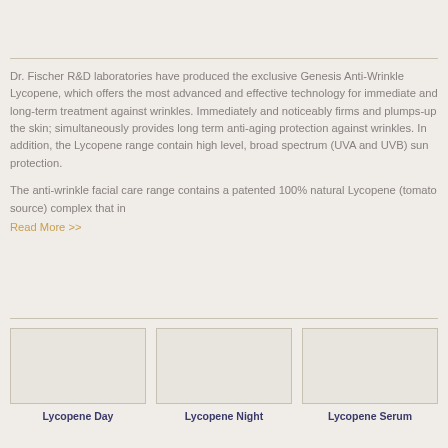Dr. Fischer R&D laboratories have produced the exclusive Genesis Anti-Wrinkle Lycopene, which offers the most advanced and effective technology for immediate and long-term treatment against wrinkles. Immediately and noticeably firms and plumps-up the skin; simultaneously provides long term anti-aging protection against wrinkles. In addition, the Lycopene range contain high level, broad spectrum (UVA and UVB) sun protection.
The anti-wrinkle facial care range contains a patented 100% natural Lycopene (tomato source) complex that in
Read More >>
[Figure (other): Placeholder image box for Lycopene Day product]
[Figure (other): Placeholder image box for Lycopene Night product]
[Figure (other): Placeholder image box for Lycopene Serum product]
Lycopene Day
Lycopene Night
Lycopene Serum